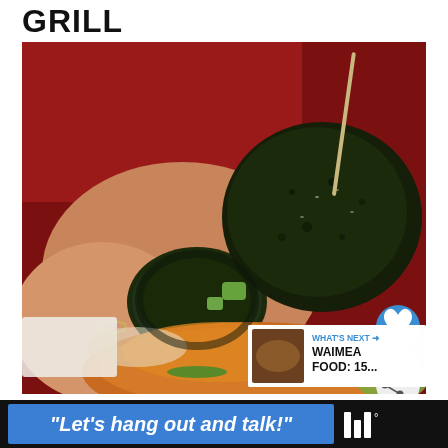GRILL
[Figure (photo): Person holding a nori-wrapped rice ball above a bowl of food with sauce, avocado chunks, and garnishes on a red background. A chopstick is visible. Heart and share buttons overlay on the right side. A 'What's Next' thumbnail shows Waimea Food content.]
WHAT'S NEXT → WAIMEA FOOD: 15...
“Let’s hang out and talk!”